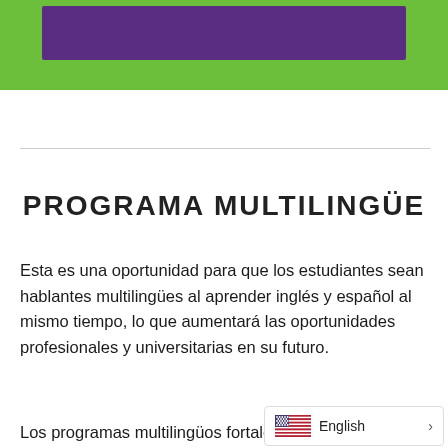[Figure (other): Green banner header with a purple rectangle inside]
PROGRAMA MULTILINGÜE
Esta es una oportunidad para que los estudiantes sean hablantes multilingües al aprender inglés y español al mismo tiempo, lo que aumentará las oportunidades profesionales y universitarias en su futuro.
Los programas multilingüos fortale...